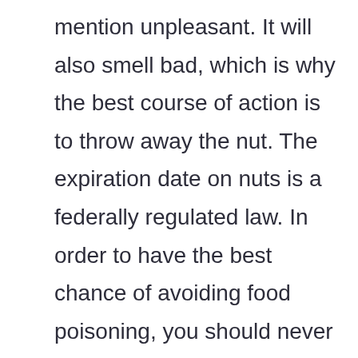mention unpleasant. It will also smell bad, which is why the best course of action is to throw away the nut. The expiration date on nuts is a federally regulated law. In order to have the best chance of avoiding food poisoning, you should never eat them after the expiration date. However, the shelf life for some types of nuts can be as long as two years.